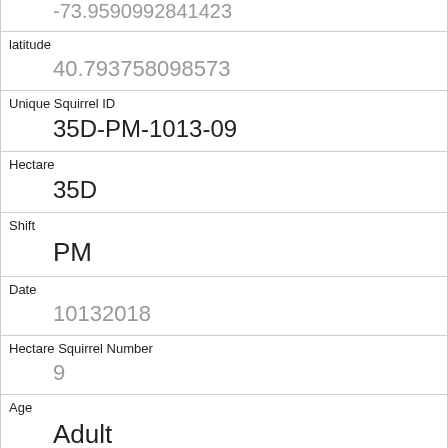| longitude | -73.9590992841423 |
| latitude | 40.793758098573 |
| Unique Squirrel ID | 35D-PM-1013-09 |
| Hectare | 35D |
| Shift | PM |
| Date | 10132018 |
| Hectare Squirrel Number | 9 |
| Age | Adult |
| Primary Fur Color | Gray |
| Highlight Fur Color | White |
| Combination of Primary and Highlight Color | Gray+White |